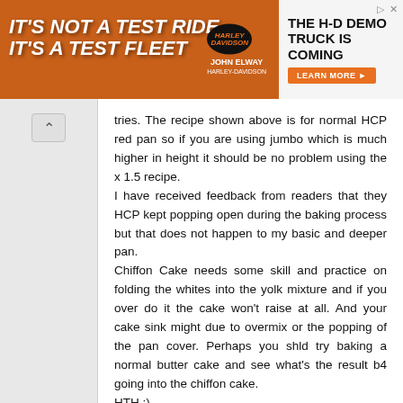[Figure (other): Advertisement banner for John Elway Harley-Davidson H-D Demo Truck with orange background and text 'IT'S NOT A TEST RIDE IT'S A TEST FLEET' and 'THE H-D DEMO TRUCK IS COMING' with LEARN MORE button]
tries. The recipe shown above is for normal HCP red pan so if you are using jumbo which is much higher in height it should be no problem using the x 1.5 recipe.
I have received feedback from readers that they HCP kept popping open during the baking process but that does not happen to my basic and deeper pan.
Chiffon Cake needs some skill and practice on folding the whites into the yolk mixture and if you over do it the cake won't raise at all. And your cake sink might due to overmix or the popping of the pan cover. Perhaps you shld try baking a normal butter cake and see what's the result b4 going into the chiffon cake.
HTH :)